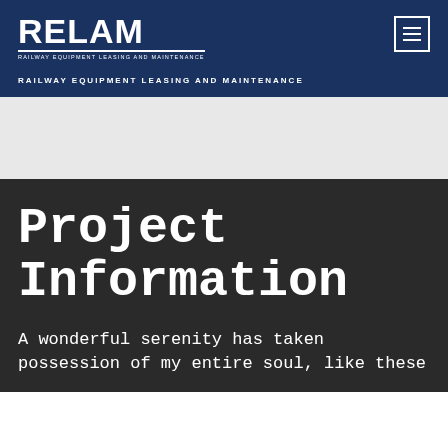[Figure (logo): RELAM logo in white on dark blue background with text RAILWAY EQUIPMENT LEASING AND MAINTENANCE below]
RAILWAY EQUIPMENT LEASING AND MAINTENANCE
Project Information
A wonderful serenity has taken possession of my entire soul, like these